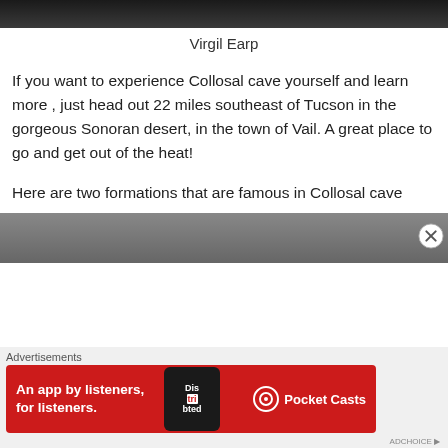[Figure (photo): Top portion of a black and white photo, partially cropped at top of page]
Virgil Earp
If you want to experience Collosal cave yourself and learn more , just head out 22 miles southeast of Tucson in the gorgeous Sonoran desert, in the town of Vail. A great place to go and get out of the heat!
Here are two formations that are famous in Collosal cave
[Figure (photo): Bottom portion of a black and white photo of cave formations, partially cropped]
Advertisements
[Figure (other): Pocket Casts advertisement banner: An app by listeners, for listeners.]